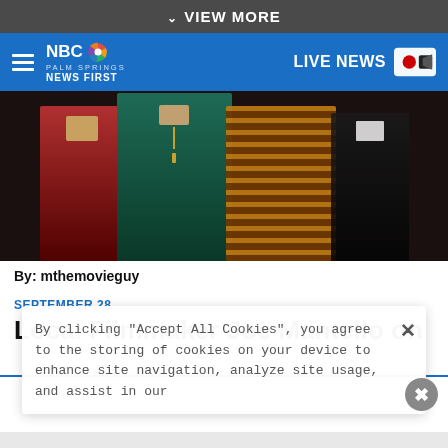VIEW MORE
NBC Palm Springs News First — LIVE NEWS
[Figure (photo): Group of people in formal/semi-formal attire, cropped at torso level, dark background]
By: mthemovieguy
SEPTEMBER 28
Local Filmmaker Joe Mantello on
By clicking "Accept All Cookies", you agree to the storing of cookies on your device to enhance site navigation, analyze site usage, and assist in our